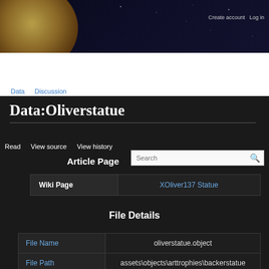Create account   Log in
Data   Discussion
Data:Oliverstatue
Read   View source   View history
Article Page
| Wiki Page |  |
| --- | --- |
| Wiki Page | XOliver137 Statue |
File Details
| File Name | File Path |
| --- | --- |
| File Name | oliverstatue.object |
| File Path | assets\objects\arttrophies\backerstatue |